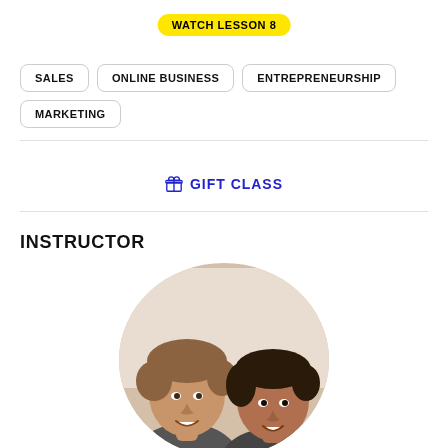WATCH LESSON 8
SALES
ONLINE BUSINESS
ENTREPRENEURSHIP
MARKETING
🎁 GIFT CLASS
INSTRUCTOR
[Figure (photo): Circular cropped photo showing two young men smiling, one with light brown hair on the left and one with dark hair on the right, in an indoor setting]